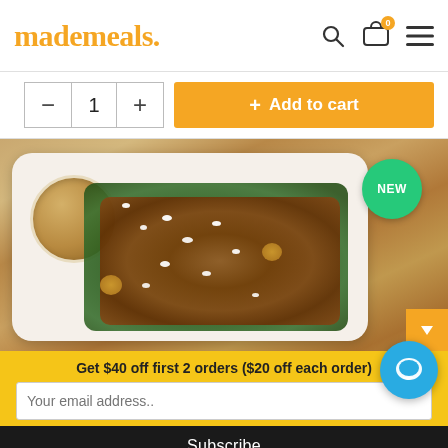mademeals.
[Figure (screenshot): Add to cart UI: quantity selector showing minus, 1, plus buttons, and an orange Add to cart button]
[Figure (photo): Photo of a salad in a white takeout tray on a wooden cutting board. The salad contains arugula/greens, candied walnuts, crumbled goat cheese, and sliced fruit, with a side cup of dressing. A green 'NEW' badge appears in the top right of the photo.]
Get $40 off first 2 orders ($20 off each order)
Your email address..
Subscribe